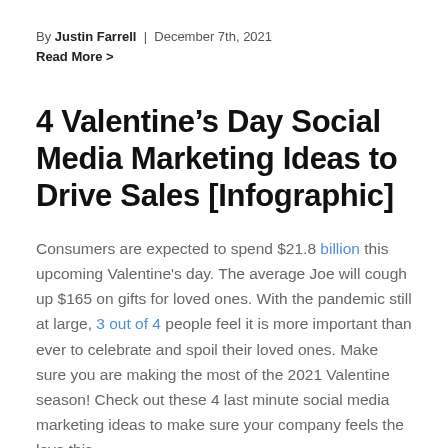By Justin Farrell  |  December 7th, 2021
Read More >
4 Valentine’s Day Social Media Marketing Ideas to Drive Sales [Infographic]
Consumers are expected to spend $21.8 billion this upcoming Valentine’s day. The average Joe will cough up $165 on gifts for loved ones. With the pandemic still at large, 3 out of 4 people feel it is more important than ever to celebrate and spoil their loved ones. Make sure you are making the most of the 2021 Valentine season! Check out these 4 last minute social media marketing ideas to make sure your company feels the love this